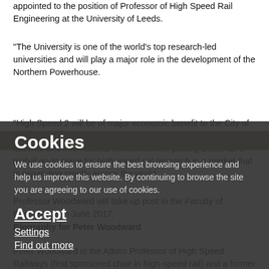appointed to the position of Professor of High Speed Rail Engineering at the University of Leeds.
“The University is one of the world's top research-led universities and will play a major role in the development of the Northern Powerhouse.
“High Speed 2 will be of major economic benefit to the City of Leeds and the formation of this new Institute will enable new national and international collaborations, placing Leeds as a global go-to place for high speed rail research in a market that is expanding rapidly across the world.
Professor Woodward will take up post in the Faculty of Engineering in June 2017.
Biography for Peter Woodward
Peter Woodward is the Atkins Professor of High Speed Railways (first sponsored chair in high-speed rail) and a former Director of the Institute for Infrastructure & Environment at Heriot-Watt University.
Cookies
We use cookies to ensure the best browsing experience and help us improve this website. By continuing to browse the site you are agreeing to our use of cookies.
Accept
Settings
Find out more